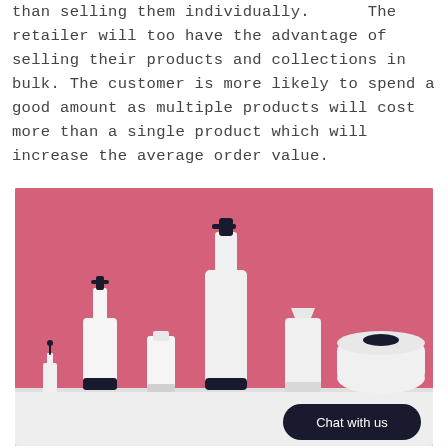than selling them individually.      The retailer will too have the advantage of selling their products and collections in bulk. The customer is more likely to spend a good amount as multiple products will cost more than a single product which will increase the average order value.
[Figure (photo): Photo of several white cosmetic/beauty product containers (dropper bottle, pump bottles, squeeze tubes) arranged on a white surface against a pink background. A dark rounded 'Chat with us' button overlay is visible in the bottom-right corner.]